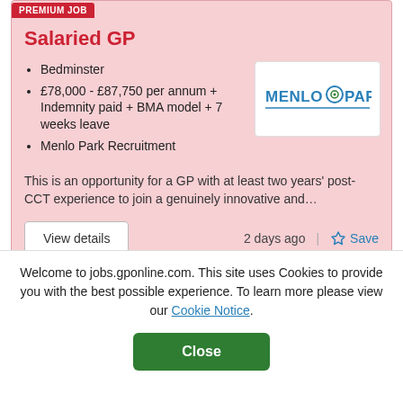PREMIUM JOB
Salaried GP
Bedminster
£78,000 - £87,750 per annum + Indemnity paid + BMA model + 7 weeks leave
Menlo Park Recruitment
[Figure (logo): Menlo Park Recruitment logo]
This is an opportunity for a GP with at least two years' post-CCT experience to join a genuinely innovative and…
View details
2 days ago
Save
PREMIUM JOB
Welcome to jobs.gponline.com. This site uses Cookies to provide you with the best possible experience. To learn more please view our Cookie Notice.
Close